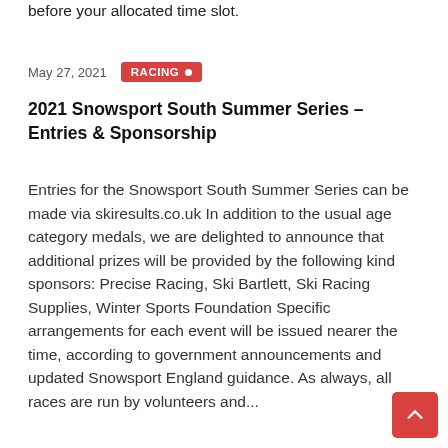before your allocated time slot.
May 27, 2021   RACING
2021 Snowsport South Summer Series – Entries & Sponsorship
Entries for the Snowsport South Summer Series can be made via skiresults.co.uk In addition to the usual age category medals, we are delighted to announce that additional prizes will be provided by the following kind sponsors: Precise Racing, Ski Bartlett, Ski Racing Supplies, Winter Sports Foundation Specific arrangements for each event will be issued nearer the time, according to government announcements and updated Snowsport England guidance. As always, all races are run by volunteers and...